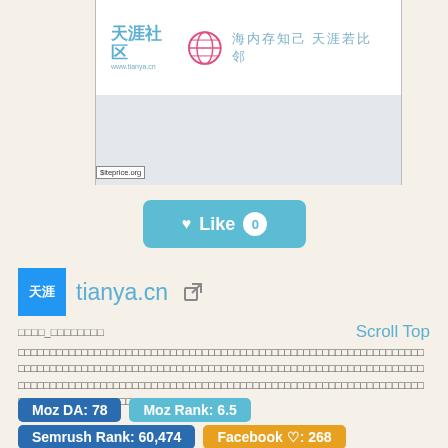[Figure (screenshot): Screenshot of tianya.cn website showing the Tianya community logo with globe icon and Chinese tagline, with a gray content area below. A 'siteprice.org' watermark label appears at the bottom-left of the screenshot.]
[Figure (other): Like button with heart icon showing '♥ Like 0' on a teal/cyan rounded rectangle button]
[Figure (logo): Tianya favicon - blue square with white Chinese character 天涯]
tianya.cn
□□□□_□□□□□□□□
Scroll Top
□□□□□□□□□□□□□□□□□□□□□□□□□□□□□□□□□□□□□□□□□□□□□□□□□□□□□□□□□□□□□□□□□□□□□□□□□□□□□□□□□□□□□□□□□□□□□□□□□□□□□□□□□□□□□□□□□□□□□□□□□□......
Moz DA: 78
Moz Rank: 6.5
Semrush Rank: 60,474
Facebook ♡: 268